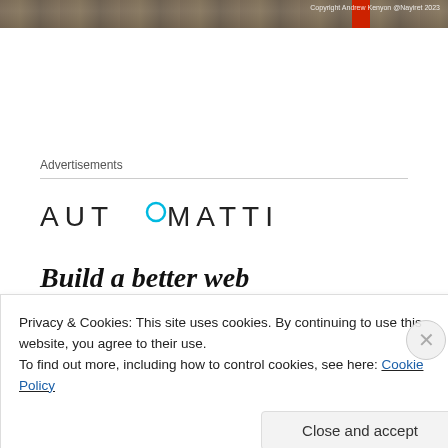[Figure (photo): Partial view of a rubble/debris scene with a red element visible on the right side. Copyright watermark: Copyright Andrew Kenyon @Nayiret 2023]
Copyright Andrew Kenyon @Nayiret 2023
Advertisements
[Figure (logo): AUTOMATTIC logo with a blue circle inside the letter O]
Build a better web
Privacy & Cookies: This site uses cookies. By continuing to use this website, you agree to their use.
To find out more, including how to control cookies, see here: Cookie Policy
Close and accept